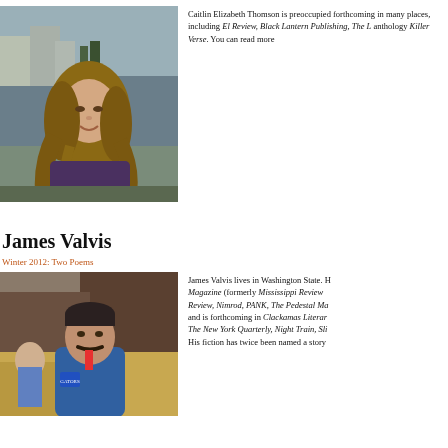[Figure (photo): Photo of Caitlin Elizabeth Thomson, a young woman with long wavy hair, smiling, outdoors near water]
Caitlin Elizabeth Thomson is preoccupied forthcoming in many places, including El Review, Black Lantern Publishing, The L anthology Killer Verse. You can read more
James Valvis
Winter 2012: Two Poems
[Figure (photo): Photo of James Valvis, a middle-aged man with a mustache wearing a blue jacket, outdoors with hay bales]
James Valvis lives in Washington State. H Magazine (formerly Mississippi Review Review, Nimrod, PANK, The Pedestal Ma and is forthcoming in Clackamas Literar The New York Quarterly, Night Train, Sli His fiction has twice been named a story